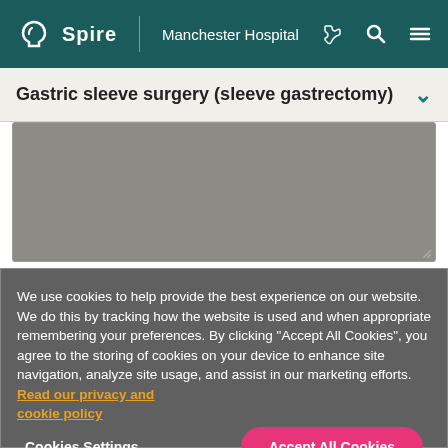[Figure (screenshot): Spire Manchester Hospital website navigation bar with teal background, Spire logo, phone, search, and menu icons]
Gastric sleeve surgery (sleeve gastrectomy)
[Figure (screenshot): Grey textarea input box with resize handle]
We use cookies to help provide the best experience on our website. We do this by tracking how the website is used and when appropriate remembering your preferences. By clicking "Accept All Cookies", you agree to the storing of cookies on your device to enhance site navigation, analyze site usage, and assist in our marketing efforts. Read our privacy and cookie policy
Cookies Settings
Accept All Cookies